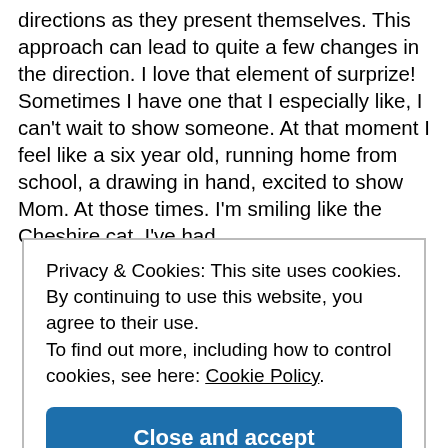directions as they present themselves. This approach can lead to quite a few changes in the direction. I love that element of surprize! Sometimes I have one that I especially like, I can't wait to show someone. At that moment I feel like a six year old, running home from school, a drawing in hand, excited to show Mom. At those times. I'm smiling like the Cheshire cat. I've had
Privacy & Cookies: This site uses cookies. By continuing to use this website, you agree to their use.
To find out more, including how to control cookies, see here: Cookie Policy
Close and accept